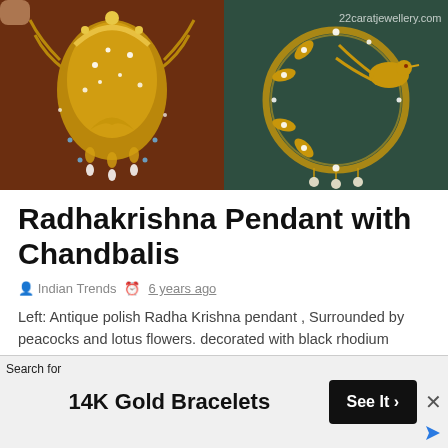[Figure (photo): Two jewelry photos side by side: left shows an antique gold Radha Krishna pendant with diamonds and dark enamel background; right shows a gold peacock pendant with diamonds and pearls on a dark background. Watermark text '22caratjewellery.com' visible on right image.]
Radhakrishna Pendant with Chandbalis
Indian Trends   6 years ago
Left: Antique polish Radha Krishna pendant , Surrounded by peacocks and lotus flowers. decorated with black rhodium finishing and flat di...
Continue...
Search for
14K Gold Bracelets
See It >